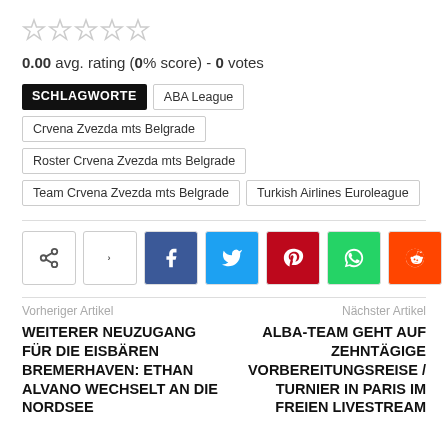[Figure (other): Five empty star rating icons]
0.00 avg. rating (0% score) - 0 votes
SCHLAGWORTE | ABA League | Crvena Zvezda mts Belgrade | Roster Crvena Zvezda mts Belgrade | Team Crvena Zvezda mts Belgrade | Turkish Airlines Euroleague
[Figure (other): Social share buttons: share icon, Facebook, Twitter, Pinterest, WhatsApp, Reddit, Email, More (+)]
Vorheriger Artikel
Nächster Artikel
WEITERER NEUZUGANG FÜR DIE EISBÄREN BREMERHAVEN: ETHAN ALVANO WECHSELT AN DIE NORDSEE
ALBA-TEAM GEHT AUF ZEHNTÄGIGE VORBEREITUNGSREISE / TURNIER IN PARIS IM FREIEN LIVESTREAM